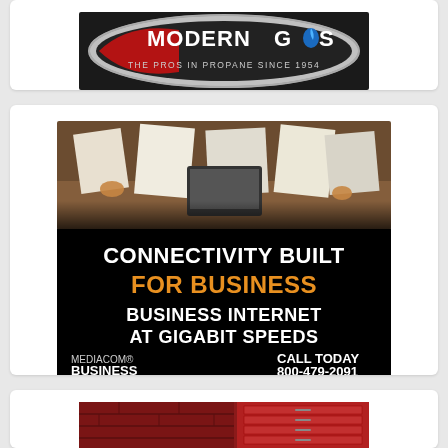[Figure (logo): Modern Gas logo — 'MODERN GAS' text with flame icon, tagline 'THE PROS IN PROPANE SINCE 1954', red/silver/black oval badge on dark background]
[Figure (advertisement): Mediacom Business advertisement. Top half: photo of business people working at a desk with papers and a laptop. Bottom half: black background with white text 'CONNECTIVITY BUILT', orange text 'FOR BUSINESS', white text 'BUSINESS INTERNET AT GIGABIT SPEEDS'. Bottom row: left 'MEDIACOM BUSINESS', right 'CALL TODAY 800-479-2091']
[Figure (photo): Partial advertisement visible at bottom of page — dark red/brick background with what appears to be a tool chest or cabinet]